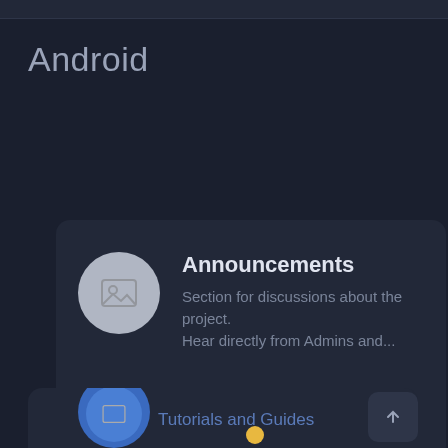Android
Announcements
Section for discussions about the project. Hear directly from Admins and...
Topics   Posts   Last post
This website uses cookies to ensure you get the best experience on our website. Learn more
Got it!
Tutorials and Guides